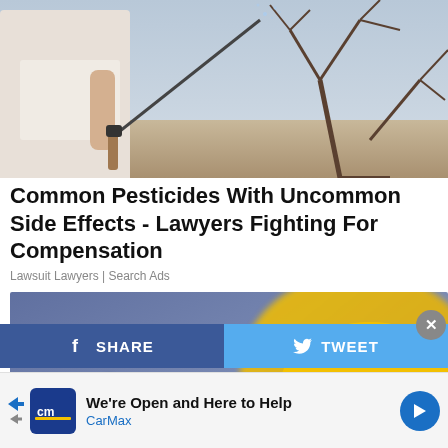[Figure (photo): Person in white t-shirt spraying pesticide with a wand toward bare tree branches outdoors]
Common Pesticides With Uncommon Side Effects - Lawyers Fighting For Compensation
Lawsuit Lawyers | Search Ads
[Figure (photo): Advertisement image with a judge gavel, yellow hard hat, blurred background, and bold white text reading 'Employement Lawyers Standing By']
SHARE  TWEET
We're Open and Here to Help  CarMax